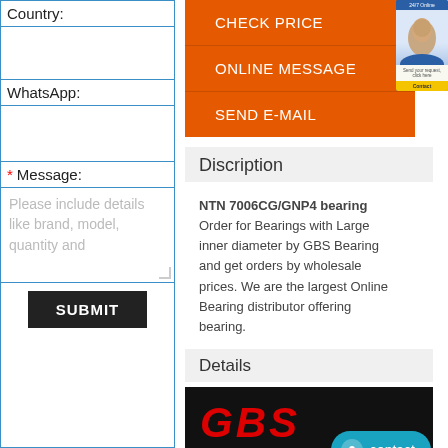Country:
WhatsApp:
* Message:
Please include details like brand, model, quantity and
SUBMIT
CHECK PRICE
ONLINE MESSAGE
SEND E-MAIL
Discription
NTN 7006CG/GNP4 bearing Order for Bearings with Large inner diameter by GBS Bearing and get orders by wholesale prices. We are the largest Online Bearing distributor offering bearing.
Details
[Figure (logo): GBS Bearing logo with red GBS text and white BEARING text on dark background with Quality Bearing tagline]
contact